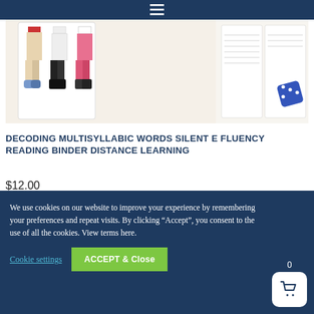[Figure (photo): Product photo showing lower halves of illustrated children figures and a worksheet/activity page with a blue dice]
DECODING MULTISYLLABIC WORDS SILENT E FLUENCY READING BINDER DISTANCE LEARNING
$12.00
ADD TO WISHLIST
We use cookies on our website to improve your experience by remembering your preferences and repeat visits. By clicking “Accept”, you consent to the use of all the cookies. View terms here.
Cookie settings
ACCEPT & Close